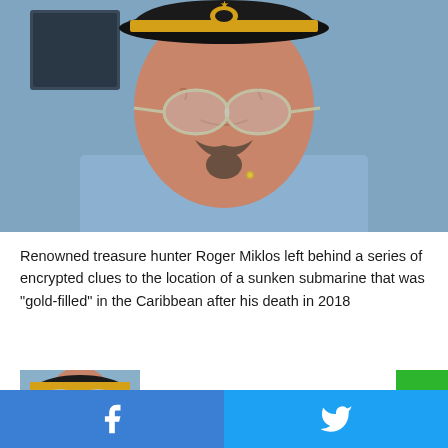[Figure (photo): Close-up photo of an elderly man wearing a naval captain hat with gold trim and aviator glasses, with a grey mustache and beard, wearing a light blue shirt, photographed against a blurred blue background.]
Renowned treasure hunter Roger Miklos left behind a series of encrypted clues to the location of a sunken submarine that was “gold-filled” in the Caribbean after his death in 2018
[Figure (photo): Thumbnail photo of the same man in naval captain hat, partially visible.]
Facebook share button | Twitter share button